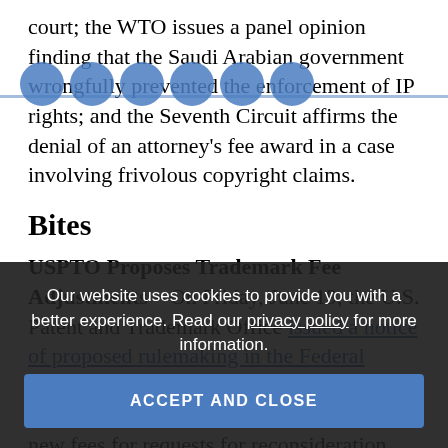court; the WTO issues a panel opinion finding that the Saudi Arabian government wrongfully prevented the enforcement of IP rights; and the Seventh Circuit affirms the denial of an attorney's fee award in a case involving frivolous copyright claims.
Bites
USPTO Proposes Trademark Fee Adjustments – On Friday, June 19, the U.S. Patent and Trademark Office issued a notice of proposed rulemaking in the Federal Register adjusting trademark fees collected by the agency, including the introduction of new fees for requests for reconsideration filed more than three [months after final action and for letters of protest].
Our website uses cookies to provide you with a better experience. Read our privacy policy for more information.
ACCEPT AND CLOSE
Doctrine – On Wednesday, June 17, the U.S. Court of Appeals for the Federal Circuit issued a precedential